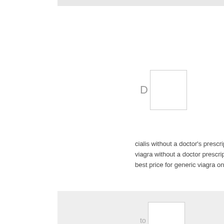[Figure (other): Avatar placeholder box with letter D]
cialis without a doctor's prescription carprofen withou
viagrа without a doctor prescription
best price for generic viagra on the internet https://ed
[Figure (other): Avatar placeholder box with letters 'to']
buy cialis online cheap